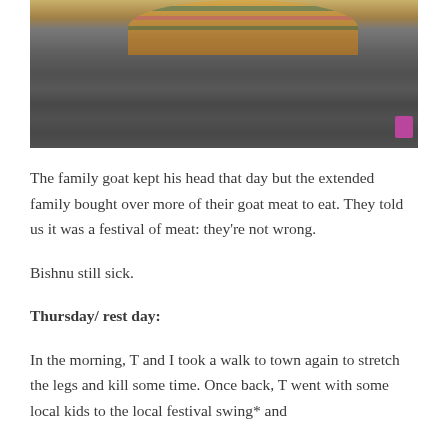[Figure (photo): Photograph showing a woven basket with colorful stripes (green, pink) at the top of the image, resting on a grey concrete or stone surface. A pink/magenta accent is visible at the bottom right corner.]
The family goat kept his head that day but the extended family bought over more of their goat meat to eat. They told us it was a festival of meat: they’re not wrong.
Bishnu still sick.
Thursday/ rest day:
In the morning, T and I took a walk to town again to stretch the legs and kill some time. Once back, T went with some local kids to the local festival swing* and